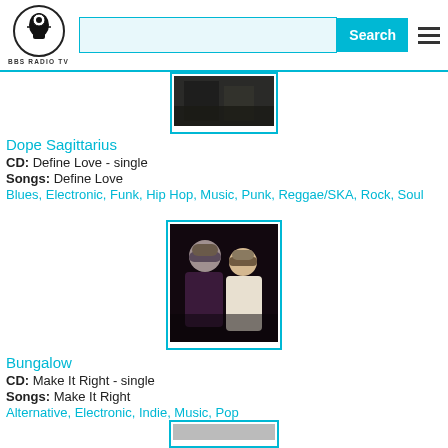BBS RADIO TV - Search
[Figure (photo): Partial top image, dark tones, cropped at top of content area]
Dope Sagittarius
CD: Define Love - single
Songs: Define Love
Blues, Electronic, Funk, Hip Hop, Music, Punk, Reggae/SKA, Rock, Soul
[Figure (photo): Two people wearing winter hats at night, one in dark hoodie, one in white jacket]
Bungalow
CD: Make It Right - single
Songs: Make It Right
Alternative, Electronic, Indie, Music, Pop
[Figure (photo): Partial bottom image, cropped at bottom of page]